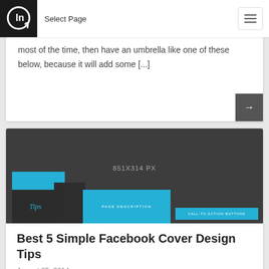Select Page
most of the time, then have an umbrella like one of these below, because it will add some [...]
[Figure (screenshot): Facebook cover photo design template showing 851x314 PX dimensions with blue and dark gray sections labeled Tips, Page Description, and Call-to-Action Buttons]
Best 5 Simple Facebook Cover Design Tips
August 25, 2014
In this article I'd like to share some tips that will help you to make your business page look professional and more appealing to your audience. Utilising these 5 easy to implement